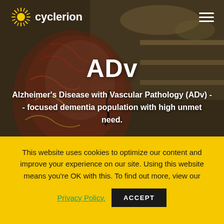[Figure (photo): Background image of a medical anatomical brain/skull model in a blurred laboratory or medical office setting with warm tones]
cyclerion
ADv
Alzheimer's Disease with Vascular Pathology (ADv) - - focused dementia population with high unmet need.
This website uses cookies to optimize our content and improve your experience on our site. Using this website means you're OK with this. To find out more, view our
Privacy Policy.
ACCEPT